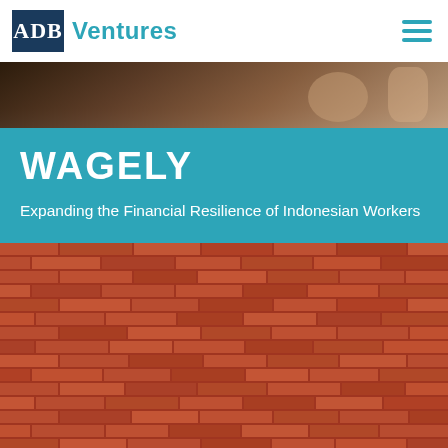ADB Ventures
[Figure (photo): Top cropped photo showing people, dark tones]
WAGELY
Expanding the Financial Resilience of Indonesian Workers
[Figure (photo): Brick wall photo, red/terracotta colored bricks]